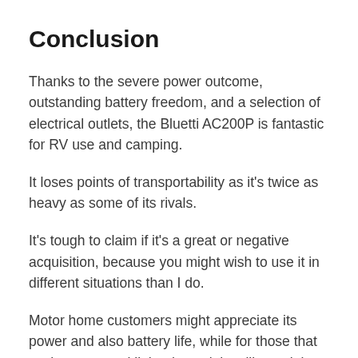Conclusion
Thanks to the severe power outcome, outstanding battery freedom, and a selection of electrical outlets, the Bluetti AC200P is fantastic for RV use and camping.
It loses points of transportability as it's twice as heavy as some of its rivals.
It's tough to claim if it's a great or negative acquisition, because you might wish to use it in different situations than I do.
Motor home customers might appreciate its power and also battery life, while for those that such as to travel light, the weight will certainly be